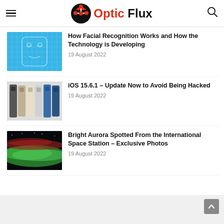Optic Flux
[Figure (screenshot): Thumbnail image: blue circuit blueprint background representing facial recognition technology]
How Facial Recognition Works and How the Technology is Developing
19 August 2022
[Figure (photo): Thumbnail image: multiple iPhone 13 Pro models in various colors lined up]
iOS 15.6.1 – Update Now to Avoid Being Hacked
19 August 2022
[Figure (photo): Thumbnail image: bright aurora borealis (green and red) photographed from the International Space Station]
Bright Aurora Spotted From the International Space Station – Exclusive Photos
19 August 2022
Back to top button